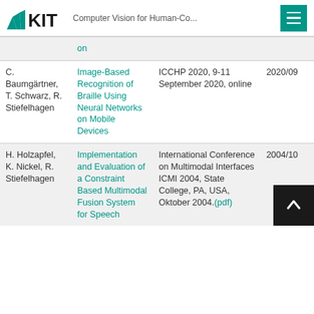KIT — Computer Vision for Human-Co...
| Authors | Title | Venue | Date |
| --- | --- | --- | --- |
| (continuation) | on |  |  |
| C. Baumgärtner, T. Schwarz, R. Stiefelhagen | Image-Based Recognition of Braille Using Neural Networks on Mobile Devices | ICCHP 2020, 9-11 September 2020, online | 2020/09 |
| H. Holzapfel, K. Nickel, R. Stiefelhagen | Implementation and Evaluation of a Constraint Based Multimodal Fusion System for Speech | International Conference on Multimodal Interfaces ICMI 2004, State College, PA, USA, Oktober 2004.(pdf) | 2004/10 |